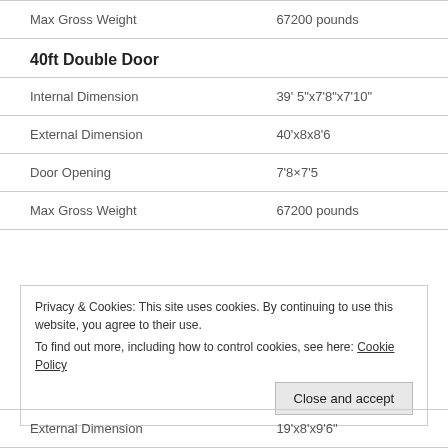|  |  |
| --- | --- |
| Max Gross Weight | 67200 pounds |
40ft Double Door
|  |  |
| --- | --- |
| Internal Dimension | 39' 5"x7'8"x7'10" |
| External Dimension | 40'x8x8'6 |
| Door Opening | 7'8×7'5 |
| Max Gross Weight | 67200 pounds |
Privacy & Cookies: This site uses cookies. By continuing to use this website, you agree to their use.
To find out more, including how to control cookies, see here: Cookie Policy
|  |  |
| --- | --- |
| External Dimension | 19'x8'x9'6" |